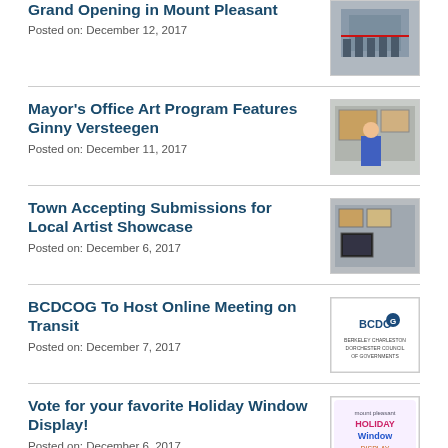Grand Opening in Mount Pleasant
Posted on: December 12, 2017
[Figure (photo): Photo of a ribbon cutting or grand opening event with people gathered]
Mayor's Office Art Program Features Ginny Versteegen
Posted on: December 11, 2017
[Figure (photo): Photo of a woman in blue standing in front of artwork on a wall]
Town Accepting Submissions for Local Artist Showcase
Posted on: December 6, 2017
[Figure (photo): Photo of a room with framed artwork and a display screen]
BCDCOG To Host Online Meeting on Transit
Posted on: December 7, 2017
[Figure (logo): BCDCOG logo - Berkeley Charleston Dorchester Council of Governments]
Vote for your favorite Holiday Window Display!
Posted on: December 6, 2017
[Figure (illustration): Holiday Window Display promotional graphic with colorful text]
Updated Traffic Alert on Coleman
[Figure (photo): Photo related to traffic alert]